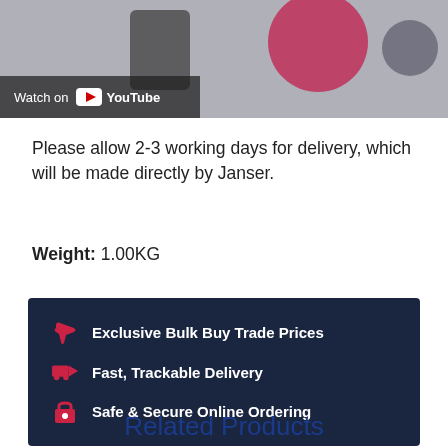[Figure (screenshot): YouTube video thumbnail banner showing 'Watch on YouTube' overlay with product images including a pink disc and grey device]
Please allow 2-3 working days for delivery, which will be made directly by Janser.
Weight: 1.00KG
Exclusive Bulk Buy Trade Prices
Fast, Trackable Delivery
Safe & Secure Online Ordering
Related Products